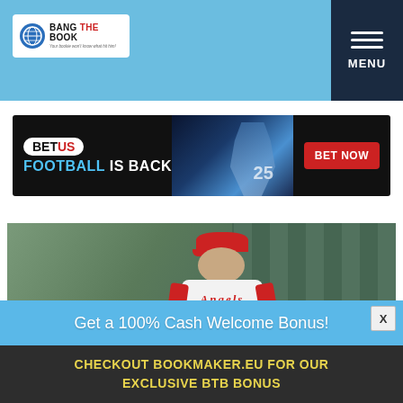Bang The Book — Your bookie won't know what hit him!
[Figure (screenshot): BetUS advertisement banner: FOOTBALL IS BACK, BET NOW button with football player wearing jersey #25]
[Figure (photo): Baseball player in Los Angeles Angels white jersey #27 standing in dugout area]
Get a 100% Cash Welcome Bonus!
CHECKOUT BOOKMAKER.EU FOR OUR EXCLUSIVE BTB BONUS